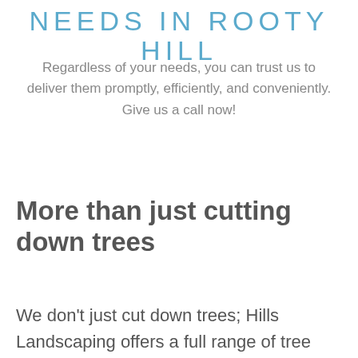NEEDS IN ROOTY HILL
Regardless of your needs, you can trust us to deliver them promptly, efficiently, and conveniently. Give us a call now!
More than just cutting down trees
We don't just cut down trees; Hills Landscaping offers a full range of tree